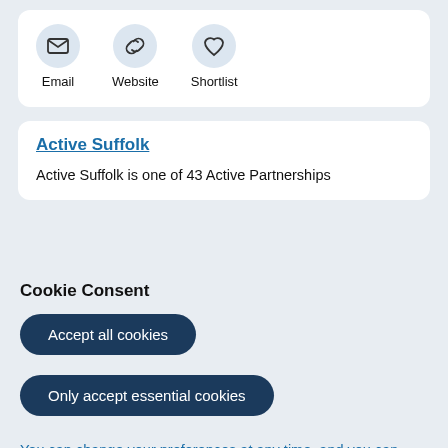[Figure (screenshot): Three icon buttons in circles: Email (envelope icon), Website (chain link icon), Shortlist (heart icon), each with a label below]
Active Suffolk
Active Suffolk is one of 43 Active Partnerships
Cookie Consent
Accept all cookies
Only accept essential cookies
You can change your preferences at any time, and you can read more about our cookies before you choose.
Leave Website